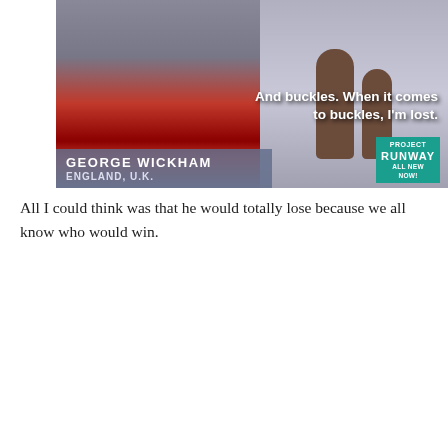[Figure (screenshot): TV screenshot of a man in a British military red uniform (George Wickham from England, U.K.) with mannequins in the background. Text overlay reads: 'And buckles. When it comes to buckles, I'm lost.' Name bar shows 'GEORGE WICKHAM / ENGLAND, U.K.' with a Project Runway badge.]
All I could think was that he would totally lose because we all know who would win.
[Figure (screenshot): Close-up photo of a man's face on dark background with italic white text overlay reading: '[On muslin] I am an excellent judge...I bought one...the other day, and it was pronounced to]